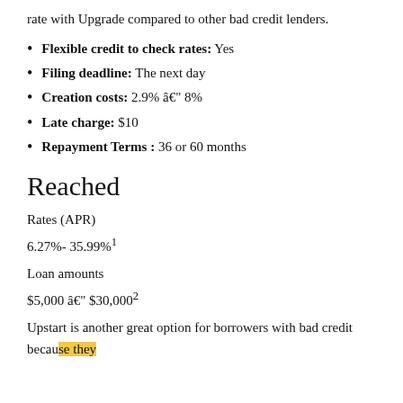rate with Upgrade compared to other bad credit lenders.
Flexible credit to check rates: Yes
Filing deadline: The next day
Creation costs: 2.9% – 8%
Late charge: $10
Repayment Terms : 36 or 60 months
Reached
Rates (APR)
6.27%- 35.99%¹
Loan amounts
$5,000 – $30,000²
Upstart is another great option for borrowers with bad credit because they offer...